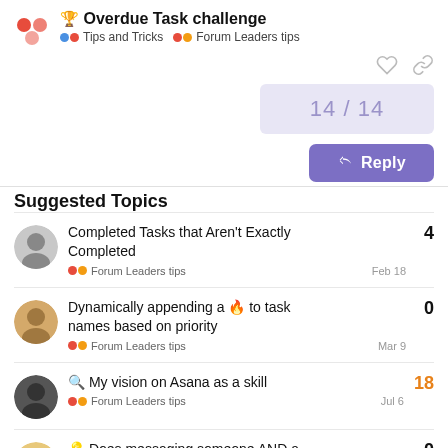🏆 Overdue Task challenge • Tips and Tricks • Forum Leaders tips
14 / 14
↩ Reply
Suggested Topics
Completed Tasks that Aren't Exactly Completed — Forum Leaders tips — Feb 18 — 4
Dynamically appending a 🔥 to task names based on priority — Forum Leaders tips — Mar 9 — 0
🔍 My vision on Asana as a skill — Forum Leaders tips — Jul 6 — 18
💡 Does messaging someone AND a — 0